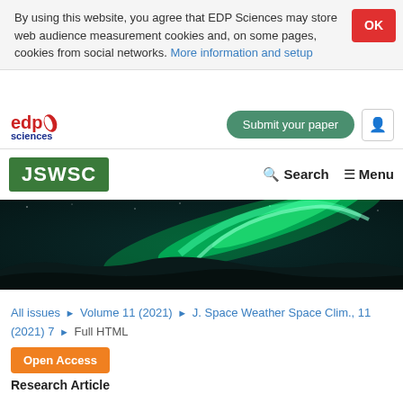By using this website, you agree that EDP Sciences may store web audience measurement cookies and, on some pages, cookies from social networks. More information and setup
[Figure (logo): EDP Sciences logo with red 'edp' and blue 'sciences' text]
[Figure (logo): JSWSC logo — white text on green background]
[Figure (photo): Aurora borealis (northern lights) photograph — green glowing bands over dark snowy landscape]
All issues ▶ Volume 11 (2021) ▶ J. Space Weather Space Clim., 11 (2021) 7 ▶ Full HTML
Open Access
Research Article